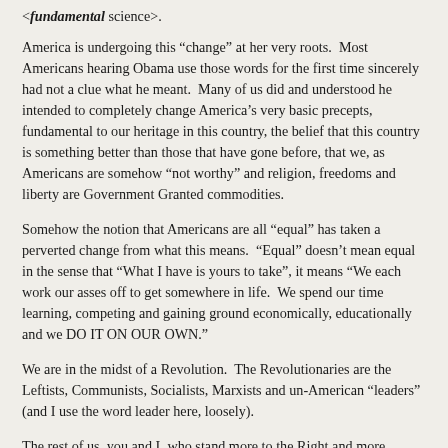<fundamental science>.
America is undergoing this “change” at her very roots.  Most Americans hearing Obama use those words for the first time sincerely had not a clue what he meant.  Many of us did and understood he intended to completely change America’s very basic precepts, fundamental to our heritage in this country, the belief that this country is something better than those that have gone before, that we, as Americans are somehow “not worthy” and religion, freedoms and liberty are Government Granted commodities.
Somehow the notion that Americans are all “equal” has taken a perverted change from what this means.  “Equal” doesn’t mean equal in the sense that “What I have is yours to take”, it means “We each work our asses off to get somewhere in life.  We spend our time learning, competing and gaining ground economically, educationally and we DO IT ON OUR OWN.”
We are in the midst of a Revolution.  The Revolutionaries are the Leftists, Communists, Socialists, Marxists and un-American “leaders” (and I use the word leader here, loosely).
The rest of us, you and I, who stand more to the Right and more